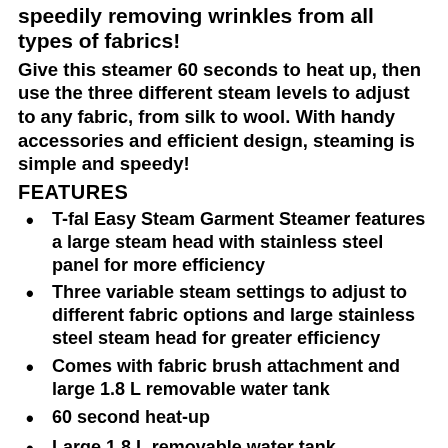speedily removing wrinkles from all types of fabrics!
Give this steamer 60 seconds to heat up, then use the three different steam levels to adjust to any fabric, from silk to wool. With handy accessories and efficient design, steaming is simple and speedy!
FEATURES
T-fal Easy Steam Garment Steamer features a large steam head with stainless steel panel for more efficiency
Three variable steam settings to adjust to different fabric options and large stainless steel steam head for greater efficiency
Comes with fabric brush attachment and large 1.8 L removable water tank
60 second heat-up
Large 1.8 L removable water tank
On/Off button with indicator light
Integrated hanger with rotary movement for easy